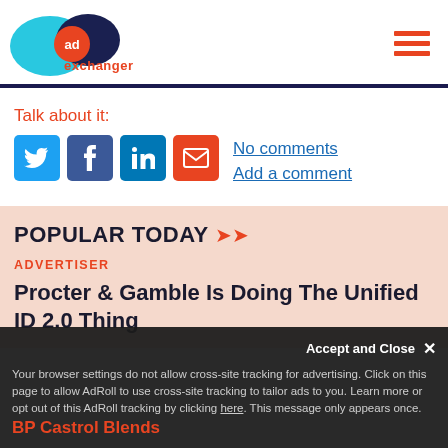[Figure (logo): AdExchanger logo: overlapping cyan and dark navy circles with orange 'ad' text and 'exchanger' in orange below]
Talk about it:
[Figure (infographic): Social sharing icons: Twitter (blue bird), Facebook (blue f), LinkedIn (blue in), Email (orange envelope)]
No comments
Add a comment
POPULAR TODAY
ADVERTISER
Procter & Gamble Is Doing The Unified ID 2.0 Thing
Accept and Close ×
Your browser settings do not allow cross-site tracking for advertising. Click on this page to allow AdRoll to use cross-site tracking to tailor ads to you. Learn more or opt out of this AdRoll tracking by clicking here. This message only appears once.